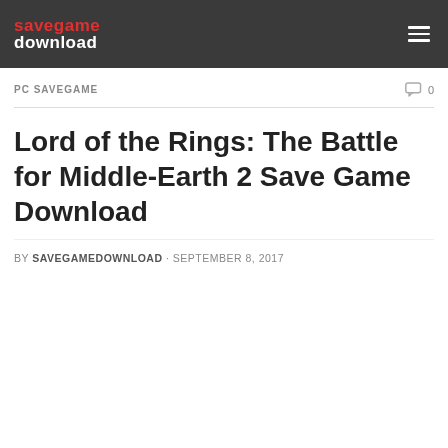savegame download
PC SAVEGAME · 0
Lord of the Rings: The Battle for Middle-Earth 2 Save Game Download
BY SAVEGAMEDOWNLOAD · SEPTEMBER 8, 2017